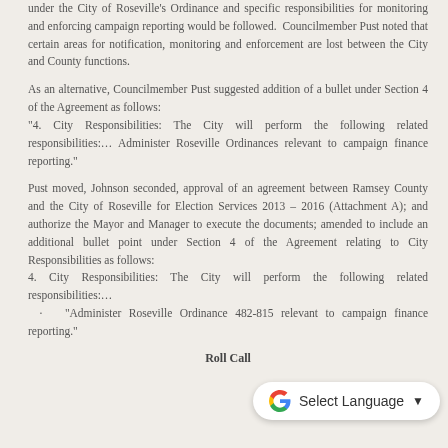under the City of Roseville's Ordinance and specific responsibilities for monitoring and enforcing campaign reporting would be followed. Councilmember Pust noted that certain areas for notification, monitoring and enforcement are lost between the City and County functions.
As an alternative, Councilmember Pust suggested addition of a bullet under Section 4 of the Agreement as follows: "4. City Responsibilities: The City will perform the following related responsibilities:… Administer Roseville Ordinances relevant to campaign finance reporting."
Pust moved, Johnson seconded, approval of an agreement between Ramsey County and the City of Roseville for Election Services 2013 – 2016 (Attachment A); and authorize the Mayor and Manager to execute the documents; amended to include an additional bullet point under Section 4 of the Agreement relating to City Responsibilities as follows: 4. City Responsibilities: The City will perform the following related responsibilities:… · "Administer Roseville Ordinance 482-815 relevant to campaign finance reporting."
Roll Call